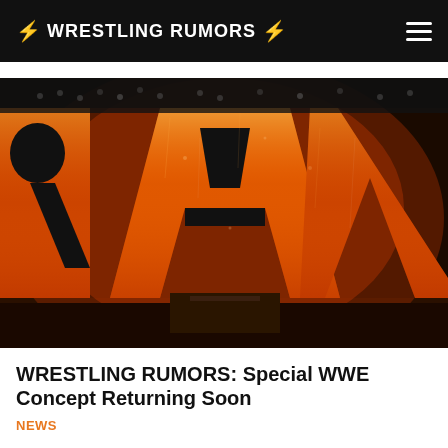⚡ WRESTLING RUMORS ⚡
[Figure (photo): Large illuminated WWE RAW letters/logo on stage, glowing orange-red against dark background]
WRESTLING RUMORS: Special WWE Concept Returning Soon
NEWS